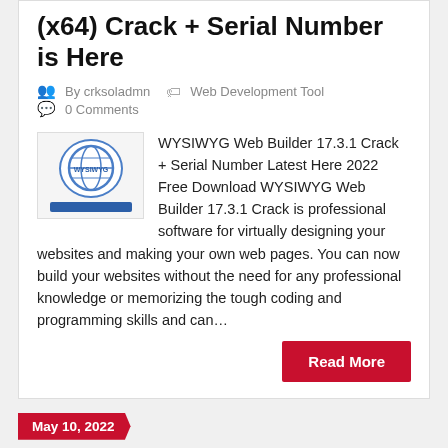WYSIWYG Web Builder 17.3.1 (x64) Crack + Serial Number is Here
By crksoladmn   Web Development Tool   0 Comments
[Figure (logo): WYSIWYG Web Builder logo with globe icon and blue bar]
WYSIWYG Web Builder 17.3.1 Crack + Serial Number Latest Here 2022 Free Download WYSIWYG Web Builder 17.3.1 Crack is professional software for virtually designing your websites and making your own web pages. You can now build your websites without the need for any professional knowledge or memorizing the tough coding and programming skills and can…
Read More
May 10, 2022
TablePlus Crack 4.9.2 Build 190